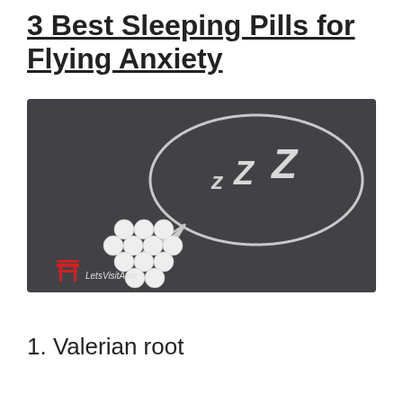3 Best Sleeping Pills for Flying Anxiety
[Figure (photo): A dark chalkboard background with white chalk drawing of a speech bubble containing 'z Z Z' letters suggesting sleep, with a group of white round pills/tablets arranged at the bottom-left inside the speech bubble tail. A logo 'LetsVisitAsia' with a red torii gate icon is visible in the bottom-left corner of the image.]
1. Valerian root